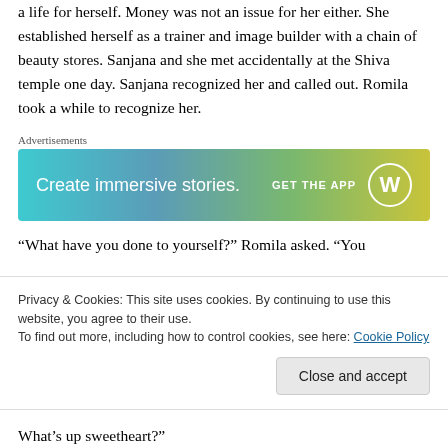a life for herself. Money was not an issue for her either. She established herself as a trainer and image builder with a chain of beauty stores. Sanjana and she met accidentally at the Shiva temple one day. Sanjana recognized her and called out. Romila took a while to recognize her.
Advertisements
[Figure (other): WordPress advertisement banner: 'Create immersive stories. GET THE APP' with WordPress logo, gradient background from teal to yellow-green.]
“What have you done to yourself?” Romila asked. “You
Privacy & Cookies: This site uses cookies. By continuing to use this website, you agree to their use.
To find out more, including how to control cookies, see here: Cookie Policy
What’s up sweetheart?”